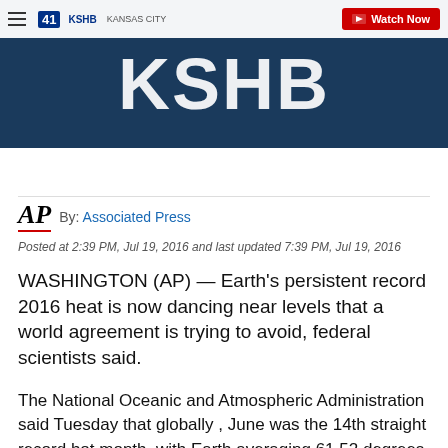[Figure (screenshot): KSHB 41 Kansas City news website banner with dark blue background showing large white KSHB text, top navigation bar with hamburger menu, 41 KSHB Kansas City logo, and red Watch Now button]
By: Associated Press
Posted at 2:39 PM, Jul 19, 2016 and last updated 7:39 PM, Jul 19, 2016
WASHINGTON (AP) — Earth's persistent record 2016 heat is now dancing near levels that a world agreement is trying to avoid, federal scientists said.
The National Oceanic and Atmospheric Administration said Tuesday that globally , June was the 14th straight record hot month, with Earth averaging 61.52 degrees (16.4 degrees Celsius). That is 1.62 degrees (0.9